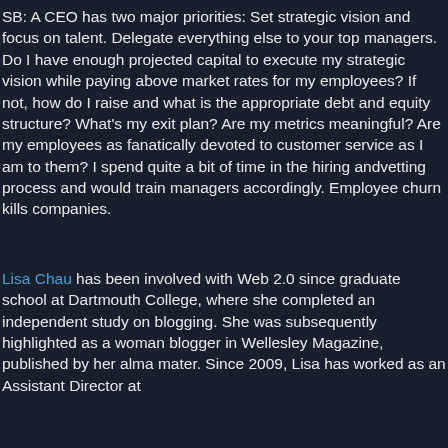SB: A CEO has two major priorities: Set strategic vision and focus on talent. Delegate everything else to your top managers. Do I have enough projected capital to execute my strategic vision while paying above market rates for my employees? If not, how do I raise and what is the appropriate debt and equity structure? What's my exit plan? Are my metrics meaningful? Are my employees as fanatically devoted to customer service as I am to them? I spend quite a bit of time in the hiring andvetting process and would train managers accordingly. Employee churn kills companies.
Lisa Chau has been involved with Web 2.0 since graduate school at Dartmouth College, where she completed an independent study on blogging. She was subsequently highlighted as a woman blogger in Wellesley Magazine, published by her alma mater. Since 2009, Lisa has worked as an Assistant Director at